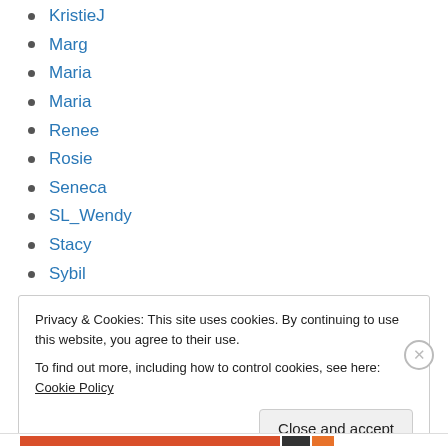KristieJ
Marg
Maria
Maria
Renee
Rosie
Seneca
SL_Wendy
Stacy
Sybil
Wendy
WendyK
Privacy & Cookies: This site uses cookies. By continuing to use this website, you agree to their use. To find out more, including how to control cookies, see here: Cookie Policy
Close and accept